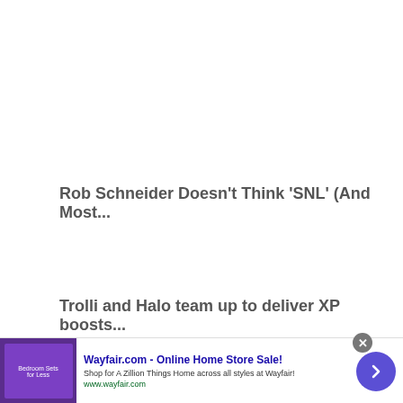Rob Schneider Doesn't Think ‘SNL’ (And Most...
Trolli and Halo team up to deliver XP boosts...
[Figure (screenshot): Wayfair.com advertisement banner with purple bedroom furniture image, ad title 'Wayfair.com - Online Home Store Sale!', description 'Shop for A Zillion Things Home across all styles at Wayfair!', URL 'www.wayfair.com', close button (X), blue arrow navigation button, and Ads icon]